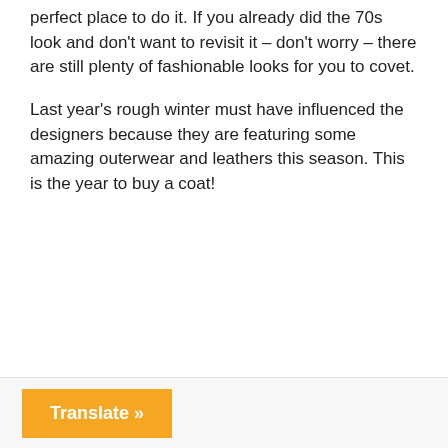perfect place to do it. If you already did the 70s look and don't want to revisit it – don't worry – there are still plenty of fashionable looks for you to covet.
Last year's rough winter must have influenced the designers because they are featuring some amazing outerwear and leathers this season. This is the year to buy a coat!
Translate »